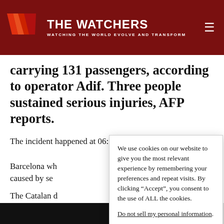THE WATCHERS — WATCHING THE WORLD EVOLVE AND TRANSFORM
carrying 131 passengers, according to operator Adif. Three people sustained serious injuries, AFP reports.
The incident happened at 06:15 LT between Terrasa and M[...]  Barcelona wh[...] caused by se[...]
The Catalan [...] the six carria[...] been alerted [...] phone calls f[...]
We use cookies on our website to give you the most relevant experience by remembering your preferences and repeat visits. By clicking “Accept”, you consent to the use of ALL the cookies.
Do not sell my personal information.